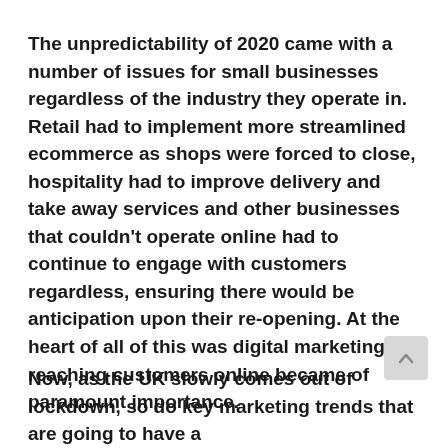The unpredictability of 2020 came with a number of issues for small businesses regardless of the industry they operate in. Retail had to implement more streamlined ecommerce as shops were forced to close, hospitality had to improve delivery and take away services and other businesses that couldn't operate online had to continue to engage with customers regardless, ensuring there would be anticipation upon their re-opening. At the heart of all of this was digital marketing as reaching customers online became of paramount importance.
Now, as the UK slowly comes out of lockdown, so do key marketing trends that are going to have a